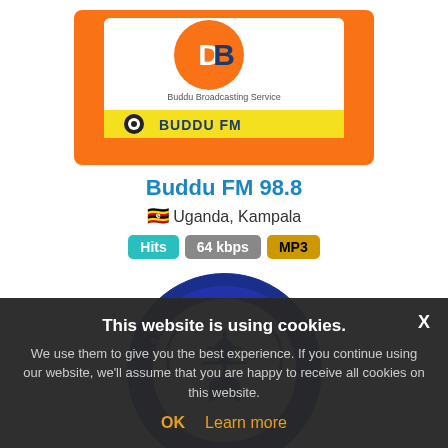[Figure (logo): Buddu FM 98.8 radio station logo - orange background with yellow Buddu FM band]
Buddu FM 98.8
Uganda, Kampala
Hits  64 kbps  MP3
[Figure (logo): SLBC Asia Hindi Service circular blue logo with radio tower and laurel wreath]
SLBC Asia Hindi Service
Sri Lanka
This website is using cookies.
We use them to give you the best experience. If you continue using our website, we'll assume that you are happy to receive all cookies on this website.
OK   Learn more